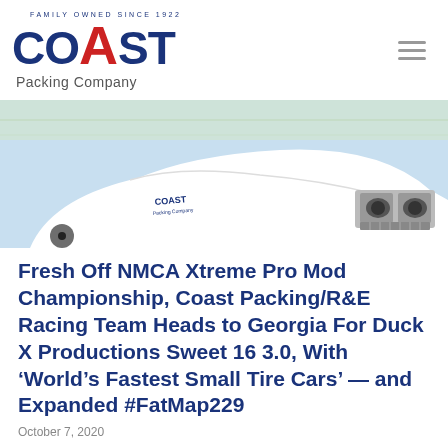[Figure (logo): Coast Packing Company logo with 'Family Owned Since 1922' arc text, blue COAST lettering with red A, and Packing Company subtitle]
[Figure (photo): White drag racing car with Coast Packing Company branding, front-end view showing hood and headlights, blue sky background with map graphic]
Fresh Off NMCA Xtreme Pro Mod Championship, Coast Packing/R&E Racing Team Heads to Georgia For Duck X Productions Sweet 16 3.0, With 'World's Fastest Small Tire Cars' — and Expanded #FatMap229
October 7, 2020
Commandeering 3500 horses to South Georgia Motor Sports Park (SGMP) in Adel on October 10-13, our CEO Eric R. "Goose" Gustafson -- for the first time ever with radial tires on